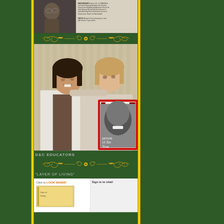[Figure (photo): Top portion of a photo showing an elderly person with glasses, with text/document visible to the right side, partially cropped]
[Figure (illustration): Gold decorative ornament/flourish divider on green background]
[Figure (photo): Two women posing together; one Asian woman on the left smiling, one woman on the right holding up a TIME magazine cover showing a Black woman's face with text 'Person of the Year']
D&C EDUCATORS
[Figure (illustration): Gold decorative ornament/flourish divider on green background]
"LAYER OF LIVING"
[Figure (photo): Bottom portion showing a book with 'Click to LOOK INSIDE!' button overlay, partially visible]
Sign in to chat!